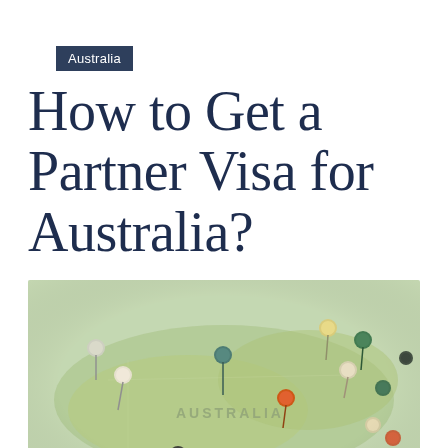Australia
How to Get a Partner Visa for Australia?
[Figure (photo): Close-up photo of a map of Australia with multiple colorful map pins stuck into it, showing various locations around the continent's coastline and interior.]